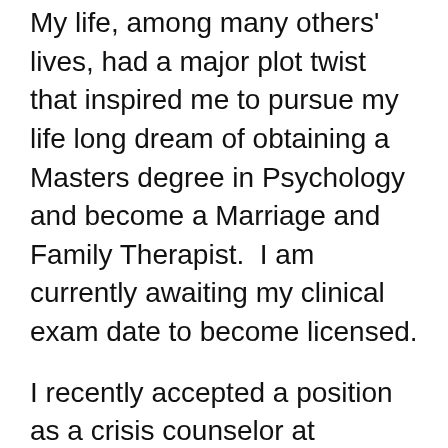My life, among many others' lives, had a major plot twist that inspired me to pursue my life long dream of obtaining a Masters degree in Psychology and become a Marriage and Family Therapist.  I am currently awaiting my clinical exam date to become licensed.
I recently accepted a position as a crisis counselor at Summerville High School in Tuolumne, California.  My love for education and mental health makes my career so very enriching!
My husband and I have four (almost all) adult children that we admire for their unique abilities and passions. We enjoy camping near the Pacific Ocean and BBQing